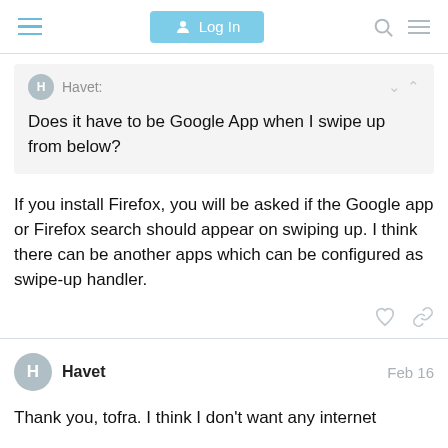Log In
Havet:
Does it have to be Google App when I swipe up from below?
If you install Firefox, you will be asked if the Google app or Firefox search should appear on swiping up. I think there can be another apps which can be configured as swipe-up handler.
Havet  Feb 16
Thank you, tofra. I think I don't want any internet